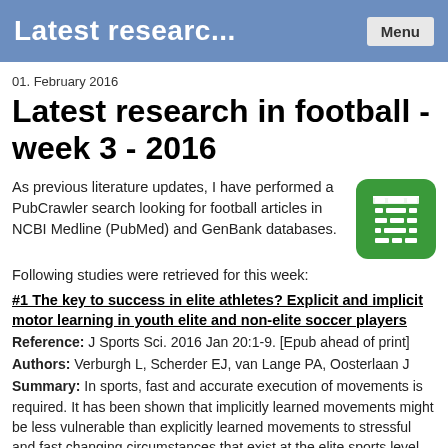Latest researc...
01. February 2016
Latest research in football - week 3 - 2016
As previous literature updates, I have performed a PubCrawler search looking for football articles in NCBI Medline (PubMed) and GenBank databases.
[Figure (logo): Green rounded square logo with bar chart / database icon in white]
Following studies were retrieved for this week:
#1 The key to success in elite athletes? Explicit and implicit motor learning in youth elite and non-elite soccer players
Reference: J Sports Sci. 2016 Jan 20:1-9. [Epub ahead of print]
Authors: Verburgh L, Scherder EJ, van Lange PA, Oosterlaan J
Summary: In sports, fast and accurate execution of movements is required. It has been shown that implicitly learned movements might be less vulnerable than explicitly learned movements to stressful and fast changing circumstances that exist at the elite sports level. The present study provides insight in explicit and implicit motor learning in youth soccer players with